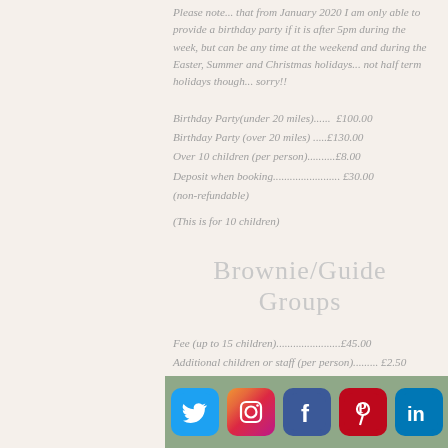Please note... that from January 2020 I am only able to provide a birthday party if it is after 5pm during the week, but can be any time at the weekend and during the Easter, Summer and Christmas holidays... not half term holidays though... sorry!!
Birthday Party(under 20 miles)......  £100.00
Birthday Party (over 20 miles) .....£130.00
Over 10 children (per person)..........£8.00
Deposit when booking........................ £30.00
(non-refundable)
(This is for 10 children)
Brownie/Guide Groups
Fee (up to 15 children).......................£45.00
Additional children or staff (per person)......... £2.50
Travel Expenses (per mile)......................40p
[Figure (other): Social media icons bar: Twitter, Instagram, Facebook, Pinterest, LinkedIn on sage green background]